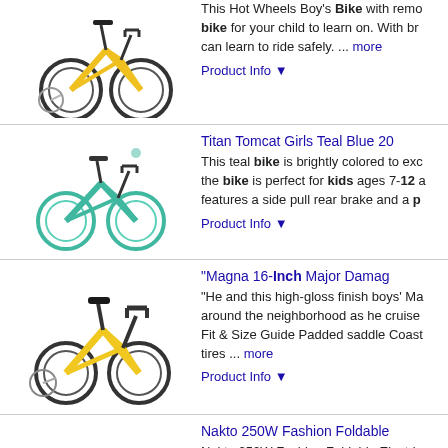This Hot Wheels Boy's Bike with remo... bike for your child to learn on. With br... can learn to ride safely. ... more
Product Info ▼
Titan Tomcat Girls Teal Blue 20...
This teal bike is brightly colored to exc... the bike is perfect for kids ages 7-12 a... features a side pull rear brake and a p...
Product Info ▼
"Magna 16-Inch Major Damag...
"He and this high-gloss finish boys' Ma... around the neighborhood as he cruise... Fit & Size Guide Padded saddle Coast... tires ... more
Product Info ▼
Nakto 250W Fashion Foldable...
Nakto 250W Fashion Foldable Electric... from 23" up to 26", both front and rear... pedal assist on demand Throttle, this b... need. ... more
Product Info ▼
"Fun 16-Inch Kids' Unicycle, R...
"Using this Fun unicycle, you can perf... red.Kids Bike Fit & Size Guide Cartri...